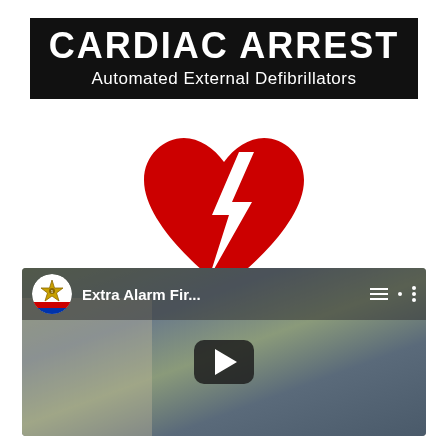CARDIAC ARREST
Automated External Defibrillators
[Figure (illustration): AED logo: red heart with white lightning bolt symbol and red text 'AED' below]
[Figure (screenshot): YouTube video thumbnail showing 'Extra Alarm Fir...' with a sheriff badge channel icon, play button, and a blurred exterior building scene]